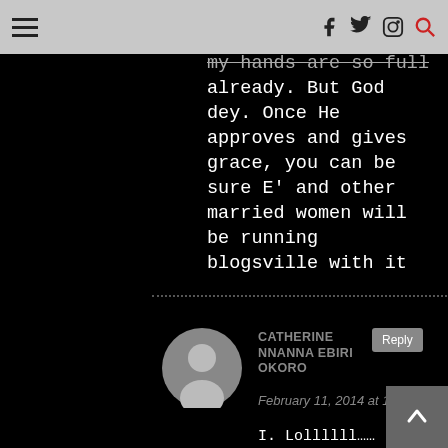☰ [hamburger menu] | f [Facebook] [Twitter] [Instagram] [Search]
just that with this one, my hands are so full already. But God dey. Once He approves and gives grace, you can be sure E' and other married women will be running blogsville with it
CATHERINE NNANNA EBIRI OKORO
February 11, 2014 at 11:21 pm
I. Lollllll……